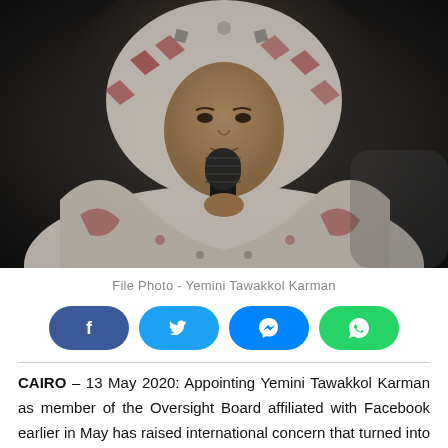[Figure (photo): File photo of Yemini Tawakkol Karman wearing a white and red patterned hijab, speaking into a black microphone against a dark background.]
File Photo - Yemini Tawakkol Karman
[Figure (infographic): Social media share buttons: Facebook (dark blue), Twitter (light blue), Messenger (blue), WhatsApp (green)]
CAIRO – 13 May 2020: Appointing Yemini Tawakkol Karman as member of the Oversight Board affiliated with Facebook earlier in May has raised international concern that turned into petitions published on change.Org platform and signed by thousands of